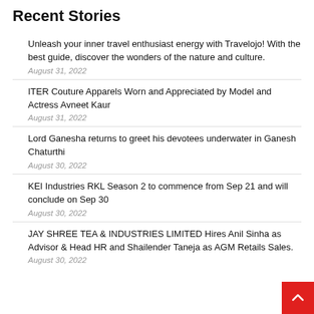Recent Stories
Unleash your inner travel enthusiast energy with Travelojo! With the best guide, discover the wonders of the nature and culture.
August 31, 2022
ITER Couture Apparels Worn and Appreciated by Model and Actress Avneet Kaur
August 31, 2022
Lord Ganesha returns to greet his devotees underwater in Ganesh Chaturthi
August 30, 2022
KEI Industries RKL Season 2 to commence from Sep 21 and will conclude on Sep 30
August 30, 2022
JAY SHREE TEA & INDUSTRIES LIMITED Hires Anil Sinha as Advisor & Head HR and Shailender Taneja as AGM Retails Sales.
August 30, 2022